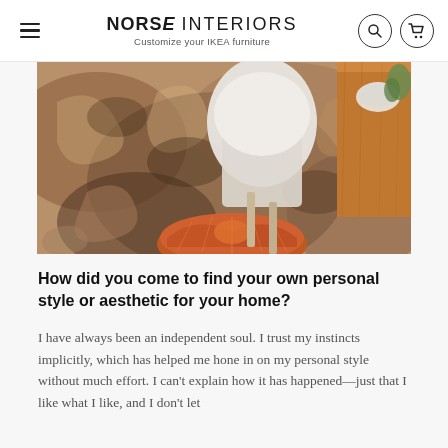NORSE INTERIORS — Customize your IKEA furniture
[Figure (photo): Overhead view of a patterned area rug with an ornate design in terracotta, beige, and dark tones. A white modern chair and a wooden table are partially visible. An orange Moroccan leather pouf sits on the rug in the lower portion of the image.]
How did you come to find your own personal style or aesthetic for your home?
I have always been an independent soul. I trust my instincts implicitly, which has helped me hone in on my personal style without much effort. I can't explain how it has happened—just that I like what I like, and I don't let